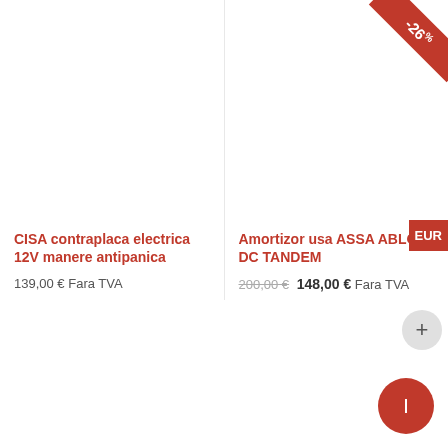[Figure (photo): Product image area for CISA contraplaca electrica 12V (left card, upper half, white/empty)]
[Figure (photo): Product image area for Amortizor usa ASSA ABLOY DC TANDEM with -26% red discount ribbon in top right corner]
CISA contraplaca electrica 12V manere antipanica
139,00 € Fara TVA
Amortizor usa ASSA ABLOY DC TANDEM
200,00 € 148,00 € Fara TVA